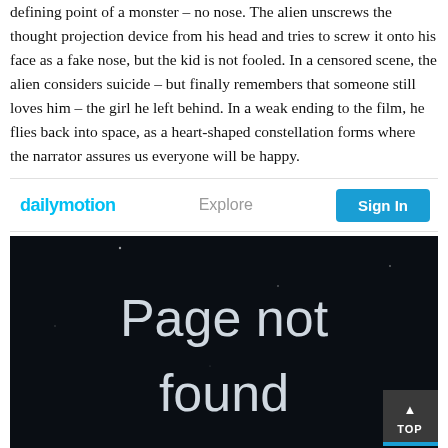defining point of a monster – no nose. The alien unscrews the thought projection device from his head and tries to screw it onto his face as a fake nose, but the kid is not fooled. In a censored scene, the alien considers suicide – but finally remembers that someone still loves him – the girl he left behind. In a weak ending to the film, he flies back into space, as a heart-shaped constellation forms where the narrator assures us everyone will be happy.
[Figure (screenshot): Dailymotion navigation bar showing logo, Explore link, and Sign In button]
[Figure (screenshot): Dailymotion 'Page not found' error page on dark background]